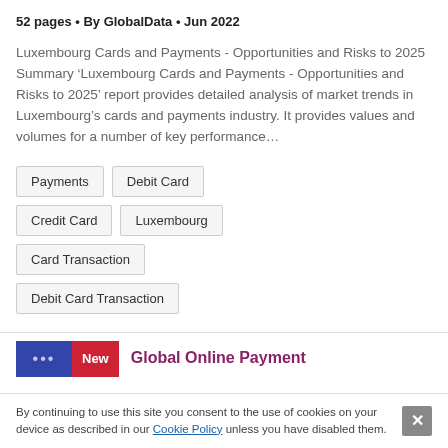52 pages • By GlobalData • Jun 2022
Luxembourg Cards and Payments - Opportunities and Risks to 2025 Summary 'Luxembourg Cards and Payments - Opportunities and Risks to 2025' report provides detailed analysis of market trends in Luxembourg's cards and payments industry. It provides values and volumes for a number of key performance...
Payments
Debit Card
Credit Card
Luxembourg
Card Transaction
Debit Card Transaction
Global Online Payment
By continuing to use this site you consent to the use of cookies on your device as described in our Cookie Policy unless you have disabled them.